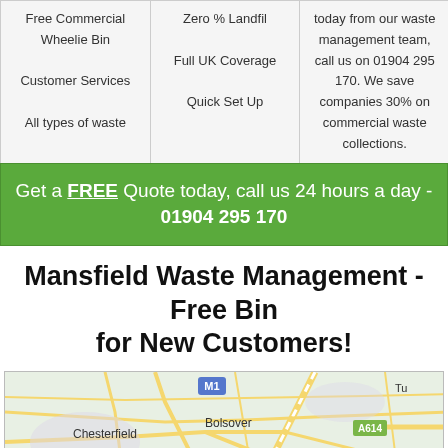| Free Commercial Wheelie Bin
Customer Services
All types of waste | Zero % Landfil
Full UK Coverage
Quick Set Up | today from our waste management team, call us on 01904 295 170. We save companies 30% on commercial waste collections. |
Get a FREE Quote today, call us 24 hours a day - 01904 295 170
Mansfield Waste Management - Free Bin for New Customers!
[Figure (map): Map showing Mansfield area including Chesterfield, Bolsover, Shirebrook, Edwinstowe, and motorway M1 and road A614]